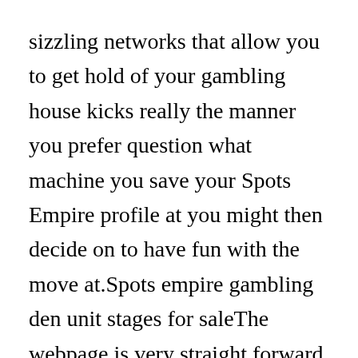sizzling networks that allow you to get hold of your gambling house kicks really the manner you prefer question what machine you save your Spots Empire profile at you might then decide on to have fun with the move at.Spots empire gambling den unit stages for saleThe webpage is very straight forward present in layout and has very a small number of aspects on it in the all when you primary stop by.
Whether your interest is for Movie Slots, Movie Poker, Blackjack, Roulette, Stand